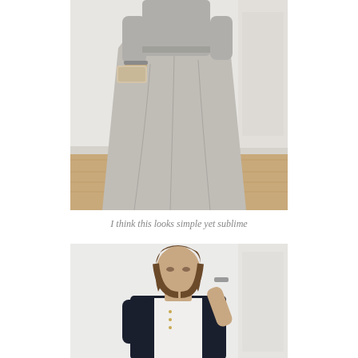[Figure (photo): A person wearing a long flowing grey/silver maxi skirt and grey top, holding a small clutch, standing in a room with white walls and wooden floor. Only the body from chest down is visible.]
I think this looks simple yet sublime
[Figure (photo): A young woman with shoulder-length brown hair wearing a dark navy jacket over a white shirt, standing against a white wall, looking slightly to the side with one hand raised near her head.]